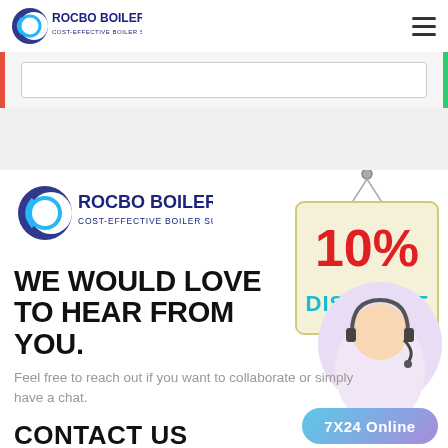[Figure (logo): Rocbo Boiler logo in navbar — circular crescent icon with ROCBO BOILER text and subtitle COST-EFFECTIVE BOILER SUPPLIER]
[Figure (logo): Rocbo Boiler logo in main content — same circular crescent icon with ROCBO BOILER and COST-EFFECTIVE BOILER SUPPLIER]
[Figure (infographic): 10% DISCOUNT hanging sign badge — cream background, red 10% text, teal DISCOUNT text, hanging from a hook]
[Figure (photo): Customer service representative woman wearing a headset, smiling, in a circular crop]
WE WOULD LOVE TO HEAR FROM YOU.
Feel free to reach out if you want to collaborate or simply have a chat.
CONTACT US
[Figure (infographic): 7X24 Online button — gradient blue-purple rounded button]